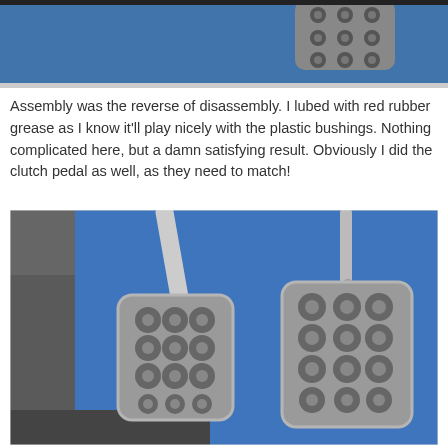[Figure (photo): Close-up photo of a car brake pedal with circular dimpled rubber surface, placed on a blue microfiber cloth. Partial view cropped at top.]
Assembly was the reverse of disassembly. I lubed with red rubber grease as I know it'll play nicely with the plastic bushings. Nothing complicated here, but a damn satisfying result. Obviously I did the clutch pedal as well, as they need to match!
[Figure (photo): Two matching car pedals (brake and clutch) with circular dimpled metallic surfaces, laid side by side on a blue microfiber cloth. Both have metal stems/rods attached at the top.]